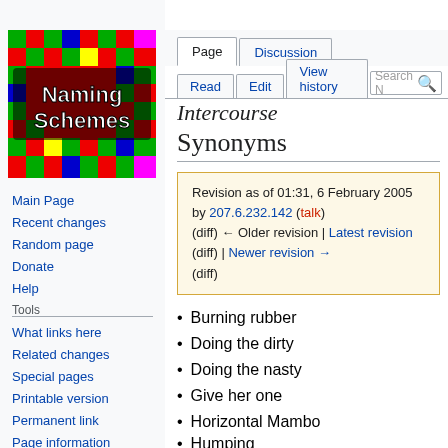Not logged in  Talk  Contributions  Log in
[Figure (logo): Naming Schemes wiki logo - colorful pixel art with text 'Naming Schemes' on multicolored mosaic background]
Main Page
Recent changes
Random page
Donate
Help
Tools
What links here
Related changes
Special pages
Printable version
Permanent link
Page information
Intercourse
Synonyms
Revision as of 01:31, 6 February 2005 by 207.6.232.142 (talk) (diff) ← Older revision | Latest revision (diff) | Newer revision → (diff)
Burning rubber
Doing the dirty
Doing the nasty
Give her one
Horizontal Mambo
Humping
Making hay